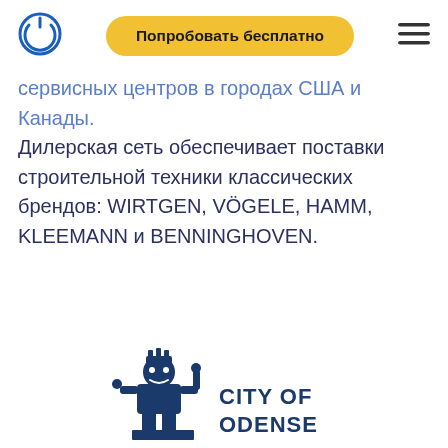[Figure (logo): Blue circular logo icon with a vertical line through a circle, resembling a power symbol]
Попробовать бесплатно
[Figure (other): Hamburger menu icon (three horizontal lines)]
сервисных центров в городах США и Канады. Дилерская сеть обеспечивает поставки строительной техники классических брендов: WIRTGEN, VÖGELE, HAMM, KLEEMANN и BENNINGHOVEN.
[Figure (logo): City of Odense logo featuring a figure/knight illustration in dark navy blue with the text CITY OF ODENSE]